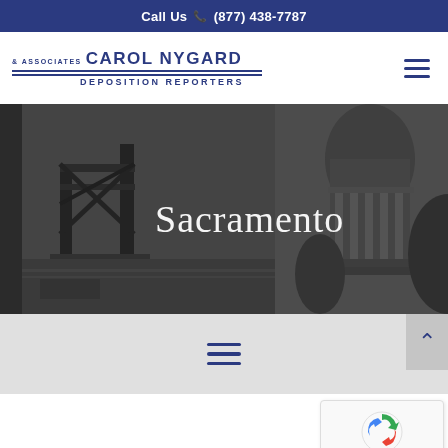Call Us  (877) 438-7787
[Figure (logo): Carol Nygard & Associates Deposition Reporters logo with blue text and horizontal rules]
[Figure (photo): Black and white panoramic photo of Sacramento landmarks including the Tower Bridge and California State Capitol building with 'Sacramento' text overlay]
[Figure (other): Hamburger menu icon (three horizontal blue lines) centered in gray section]
[Figure (other): Back to top button with upward arrow chevron on gray background]
[Figure (other): Google reCAPTCHA widget showing recycled arrows logo with Privacy and Terms links]